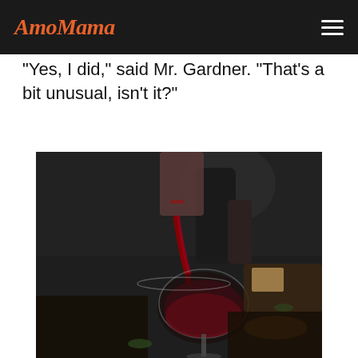AmoMama
"Yes, I did," said Mr. Gardner. "That's a bit unusual, isn't it?"
[Figure (photo): A person pouring red wine from a decanter into a large wine glass, with food items including cheese and meat visible in the background on a dark wooden board.]